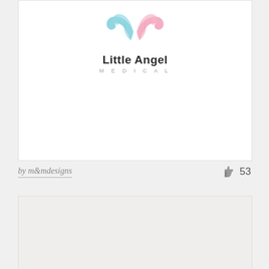[Figure (logo): Little Angel Medical logo with pink and blue angel wings above the text 'Little Angel' in bold dark font and 'MEDICAL' in spaced gray letters below]
by m&mdesigns
53
[Figure (other): Gray/beige background card area (second card, content not visible)]